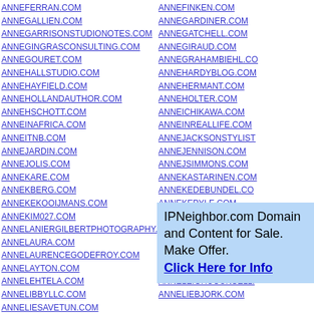ANNEFERRAN.COM
ANNEGALLIEN.COM
ANNEGARRISONSTUDIONOTES.COM
ANNEGINGRASCONSULTING.COM
ANNEGOURET.COM
ANNEHALLSTUDIO.COM
ANNEHAYFIELD.COM
ANNEHOLLANDAUTHOR.COM
ANNEHSCHOTT.COM
ANNEINAFRICA.COM
ANNEITNB.COM
ANNEJARDIN.COM
ANNEJOLIS.COM
ANNEKARE.COM
ANNEKBERG.COM
ANNEKEKOOIJMANS.COM
ANNEKIM027.COM
ANNELANIERGILBERTPHOTOGRAPHY.COM
ANNELAURA.COM
ANNELAURENCEGODEFROY.COM
ANNELAYTON.COM
ANNELEHTELA.COM
ANNELIBBYLLC.COM
ANNELIESAVETUN.COM
ANNELIESESHAWCREATIONS.COM
ANNELIESVANDRIEL.COM
ANNELIKRISTINEPHOTOGRAPHY.COM
ANNELINEBERG.COM
ANNEFINKEN.COM
ANNEGARDINER.COM
ANNEGATCHELL.COM
ANNEGIRAUD.COM
ANNEGRAHAMBIEHL.COM
ANNEHARDYBLOG.COM
ANNEHERMANT.COM
ANNEHOLTER.COM
ANNEICHIKAWA.COM
ANNEINREALLIFE.COM
ANNEJACKSONSTYLIST...
ANNEJENNISON.COM
ANNEJSIMMONS.COM
ANNEKASTARINEN.COM
ANNEKEDEBUNDEL.COM
ANNEKEPYLE.COM
ANNEKNOCK.COM
ANNELASAMUEL.COM
ANNELAURE-HARMONY...
ANNELAURESIMONIAN.COM
ANNELAZURKO.COM
ANNELEIGHCOUNSELLING...
ANNELIEBJORK.COM
IPNeighbor.com Domain and Content for Sale. Make Offer. Click Here for Info